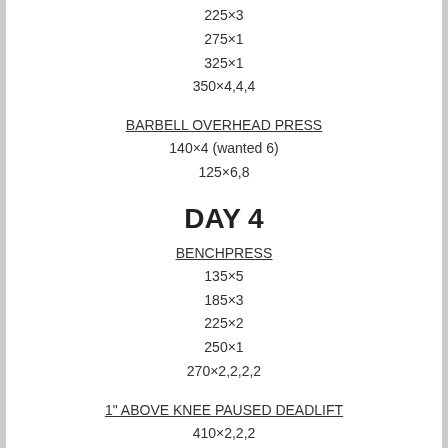225×3
275×1
325×1
350×4,4,4
BARBELL OVERHEAD PRESS
140×4 (wanted 6)
125×6,8
DAY 4
BENCHPRESS
135×5
185×3
225×2
250×1
270×2,2,2,2
1" ABOVE KNEE PAUSED DEADLIFT
410×2,2,2